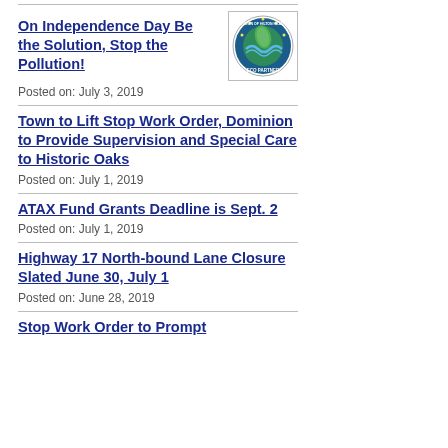On Independence Day Be the Solution, Stop the Pollution!
[Figure (logo): ECO PARTNER circular logo with blue water and green leaf design]
Posted on: July 3, 2019
Town to Lift Stop Work Order, Dominion to Provide Supervision and Special Care to Historic Oaks
Posted on: July 1, 2019
ATAX Fund Grants Deadline is Sept. 2
Posted on: July 1, 2019
Highway 17 North-bound Lane Closure Slated June 30, July 1
Posted on: June 28, 2019
Stop Work Order to Prompt